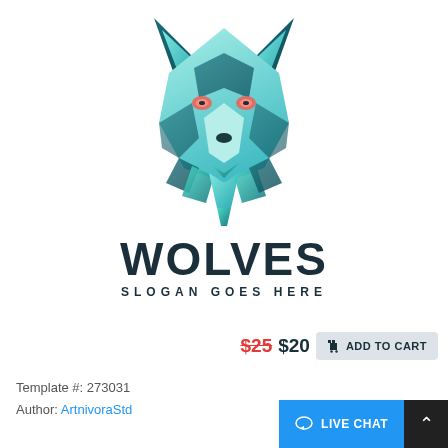[Figure (logo): Geometric teal/turquoise wolf head logo with gradient shading and glowing pink/orange eyes, facing forward. The wolf head is composed of angular geometric shapes in shades of teal, cyan, and mint green.]
WOLVES
SLOGAN GOES HERE
$25 $20  ADD TO CART
Template #: 273031
Author: ArtnivoraStd
LIVE CHAT